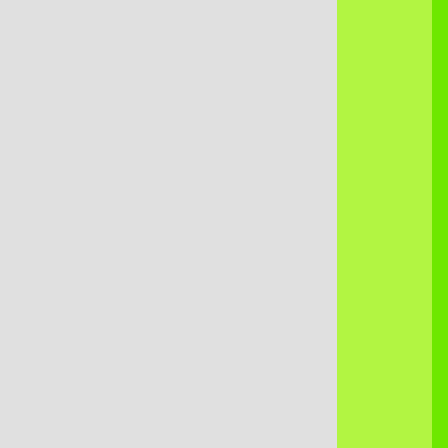[Figure (other): Three vertical panels: left gray, center light green, right bright green strip — forming background of a code listing page]
if (!s
    s =

if (!s

    s = re

    multis
    return
}

private
  multis
  array(
  foreac
    if(s
      re
  return
}
}

class TagI
  inherit
  constant
  constant

  int eval
    CACHE(
    return
  }
}